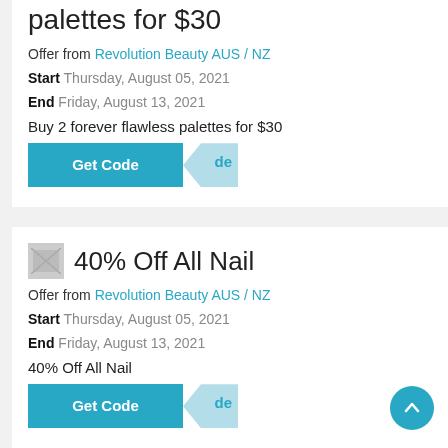palettes for $30
Offer from Revolution Beauty AUS / NZ
Start Thursday, August 05, 2021
End Friday, August 13, 2021
Buy 2 forever flawless palettes for $30
[Figure (screenshot): Teal 'Get Code' button with a lighter blue arrow/tab shape on the right showing partial text 'de']
40% Off All Nail
Offer from Revolution Beauty AUS / NZ
Start Thursday, August 05, 2021
End Friday, August 13, 2021
40% Off All Nail
[Figure (screenshot): Teal 'Get Code' button with a lighter blue arrow/tab shape on the right showing partial text 'de']
Up to 50% off Winter